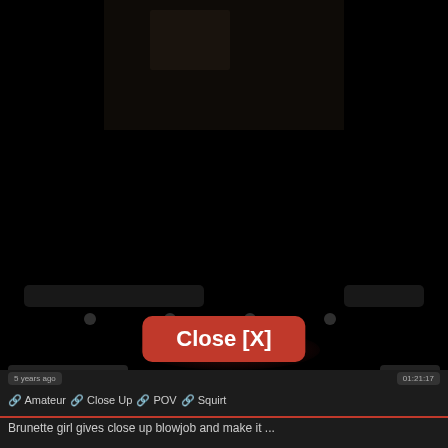[Figure (screenshot): Dark video player screenshot with a black background showing a dimly lit video thumbnail at top, UI controls in the middle area, and a prominent red Close [X] button overlay in the center.]
🔗 Amateur  🔗 Close Up  🔗 POV  🔗 Squirt
Brunette girl gives close up blowjob and make it ...